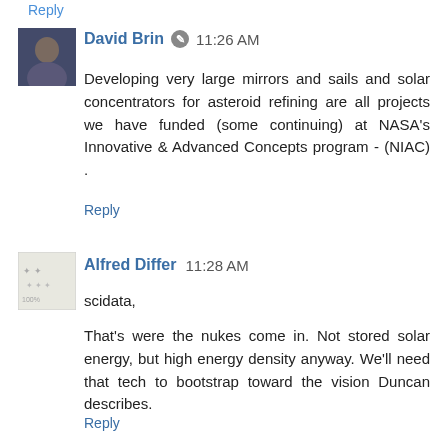Reply
[Figure (photo): Avatar photo of David Brin, a man in a dark jacket]
David Brin  11:26 AM
Developing very large mirrors and sails and solar concentrators for asteroid refining are all projects we have funded (some continuing) at NASA’s Innovative & Advanced Concepts program - (NIAC) .
Reply
[Figure (photo): Avatar illustration for Alfred Differ, a small sketch/logo style image]
Alfred Differ  11:28 AM
scidata,
That's were the nukes come in. Not stored solar energy, but high energy density anyway. We'll need that tech to bootstrap toward the vision Duncan describes.
Reply